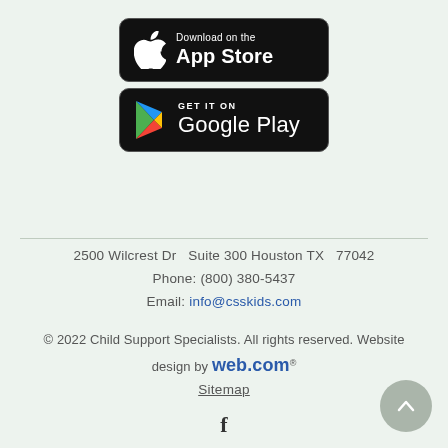[Figure (logo): Download on the App Store badge - black rounded rectangle with Apple logo and text]
[Figure (logo): Get it on Google Play badge - black rounded rectangle with Google Play triangle logo and text]
2500 Wilcrest Dr  Suite 300 Houston TX  77042
Phone: (800) 380-5437
Email: info@csskids.com
© 2022 Child Support Specialists. All rights reserved. Website design by web.com
Sitemap
[Figure (other): Facebook icon - letter f]